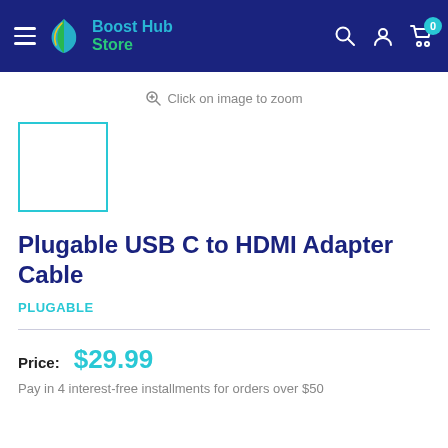Boost Hub Store — navigation header
Click on image to zoom
[Figure (photo): Product thumbnail placeholder box with teal border]
Plugable USB C to HDMI Adapter Cable
PLUGABLE
Price: $29.99
Pay in 4 interest-free installments for orders over $50